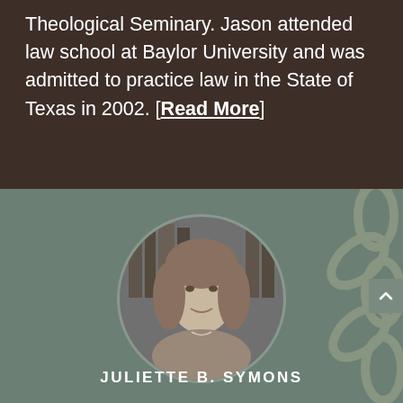Theological Seminary. Jason attended law school at Baylor University and was admitted to practice law in the State of Texas in 2002. [Read More]
[Figure (photo): Circular grayscale portrait photo of Juliette B. Symons, a woman with shoulder-length hair, smiling, wearing a blazer, with bookshelves visible in the background. Set against a muted teal/green background with a chain-link decorative overlay on the right side.]
JULIETTE B. SYMONS